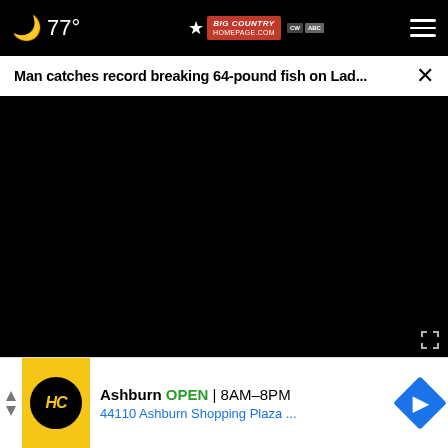77° Big Country Homepage — navigation bar
Man catches record breaking 64-pound fish on Lad...
[Figure (screenshot): Video player showing black screen with playback controls: play button, mute button, 00:00 timestamp, captions and fullscreen buttons. Progress bar at bottom with white dot indicator.]
Cri... August 18 — Daily Crime Reports — 14 hours ago
[Figure (screenshot): Advertisement banner: HC logo in yellow/black circle, Ashburn OPEN 8AM-8PM, 44110 Ashburn Shopping Plaza..., blue navigation diamond icon]